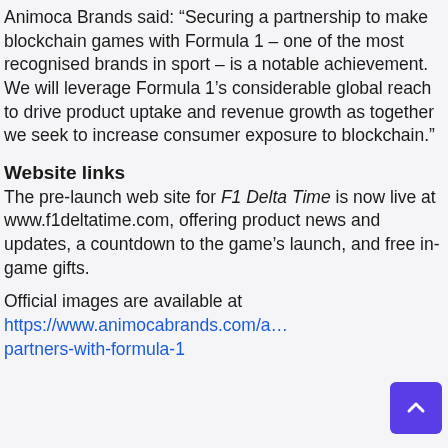Animoca Brands said: “Securing a partnership to make blockchain games with Formula 1 – one of the most recognised brands in sport – is a notable achievement. We will leverage Formula 1’s considerable global reach to drive product uptake and revenue growth as together we seek to increase consumer exposure to blockchain.”
Website links
The pre-launch web site for F1 Delta Time is now live at www.f1deltatime.com, offering product news and updates, a countdown to the game’s launch, and free in-game gifts.
Official images are available at https://www.animocabrands.com/a…partners-with-formula-1